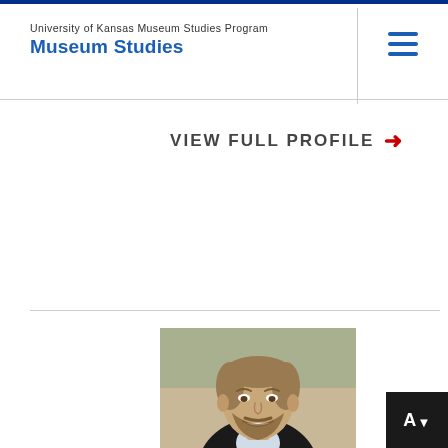University of Kansas Museum Studies Program
Museum Studies
VIEW FULL PROFILE →
[Figure (photo): Portrait photo of a man with short hair pulled back, beard, smiling, wearing a dark blazer over a light blue shirt, with a blurred outdoor background]